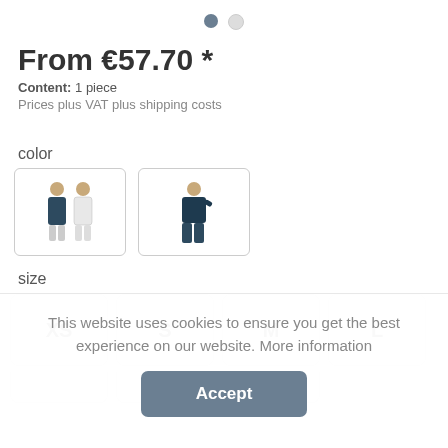[Figure (infographic): Two pagination dots at top center: one filled dark, one empty/light]
From €57.70 *
Content: 1 piece
Prices plus VAT plus shipping costs
color
[Figure (photo): Two color swatch boxes showing illustrated medical staff figures in dark/white uniforms]
size
[Figure (other): Size selection buttons: XS, S, M, L and partially visible row below]
This website uses cookies to ensure you get the best experience on our website. More information
Accept